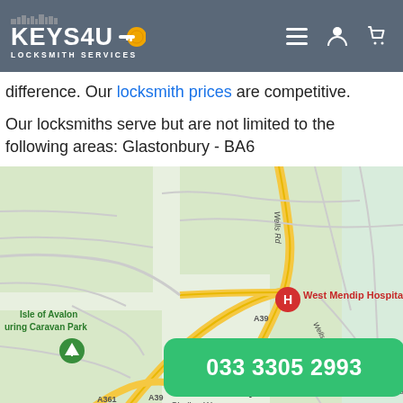KEYS4U LOCKSMITH SERVICES
difference. Our locksmith prices are competitive.
Our locksmiths serve but are not limited to the following areas: Glastonbury - BA6
[Figure (map): Google Maps screenshot showing Glastonbury area, BA6. Visible landmarks include West Mendip Hospital (marked with red H pin), Isle of Avalon Touring Caravan Park, The Old Oaks Touring Caravan Park & Campsite, and road labels A39, A361, Wells Rd.]
033 3305 2993